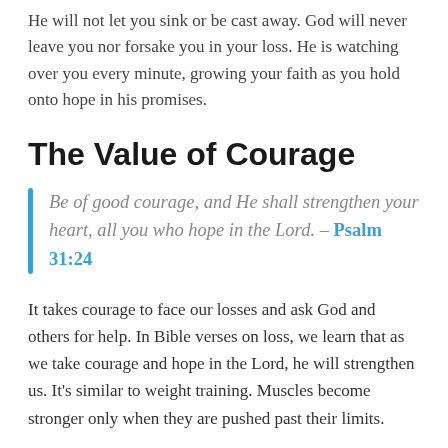He will not let you sink or be cast away. God will never leave you nor forsake you in your loss. He is watching over you every minute, growing your faith as you hold onto hope in his promises.
The Value of Courage
Be of good courage, and He shall strengthen your heart, all you who hope in the Lord. – Psalm 31:24
It takes courage to face our losses and ask God and others for help. In Bible verses on loss, we learn that as we take courage and hope in the Lord, he will strengthen us. It's similar to weight training. Muscles become stronger only when they are pushed past their limits.